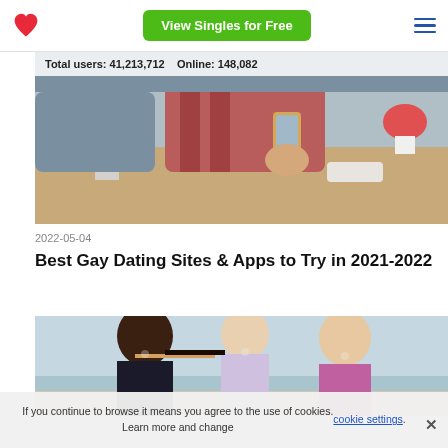View Singles for Free
Total users: 41,213,712    Online: 148,082
[Figure (photo): Person at cafe table holding a phone, with flowers in background]
2022-05-04
Best Gay Dating Sites & Apps to Try in 2021-2022
[Figure (photo): Three young women laughing together at the beach]
If you continue to browse it means you agree to the use of cookies. Learn more and change cookie settings.